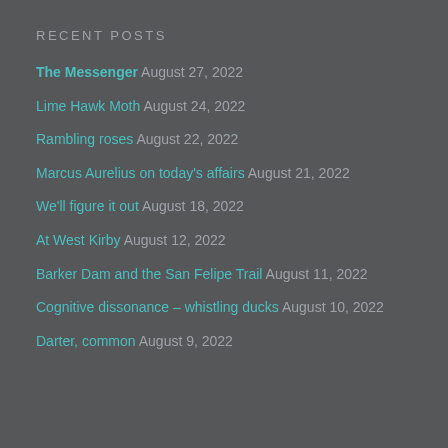RECENT POSTS
The Messenger August 27, 2022
Lime Hawk Moth August 24, 2022
Rambling roses August 22, 2022
Marcus Aurelius on today's affairs August 21, 2022
We'll figure it out August 18, 2022
At West Kirby August 12, 2022
Barker Dam and the San Felipe Trail August 11, 2022
Cognitive dissonance – whistling ducks August 10, 2022
Darter, common August 9, 2022